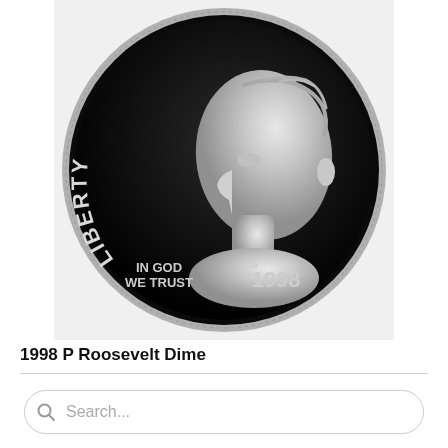[Figure (photo): Close-up photograph of the obverse (heads) side of a 1998 S Roosevelt Dime proof coin. The coin has a dark mirrored background with a silver relief portrait of Roosevelt facing left. The coin shows 'LIBERTY' along the left arc, 'IN GOD WE TRUST' at the bottom left, '1998' at the bottom right, and an 'S' mint mark above the '1' in 1998.]
1998 P Roosevelt Dime
Search...